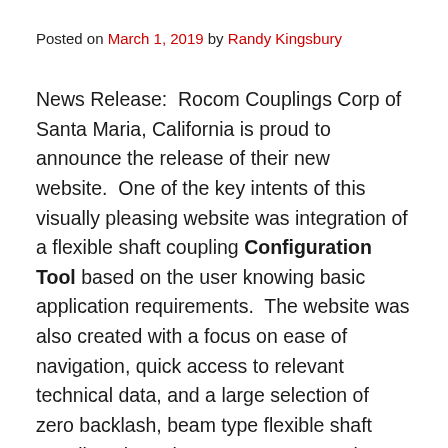Posted on March 1, 2019 by Randy Kingsbury
News Release:  Rocom Couplings Corp of Santa Maria, California is proud to announce the release of their new website.  One of the key intents of this visually pleasing website was integration of a flexible shaft coupling Configuration Tool based on the user knowing basic application requirements.  The website was also created with a focus on ease of navigation, quick access to relevant technical data, and a large selection of zero backlash, beam type flexible shaft couplings based on customer usage in today’s most demanding motion control applications in Industrial, Aerospace, Military, and Medical